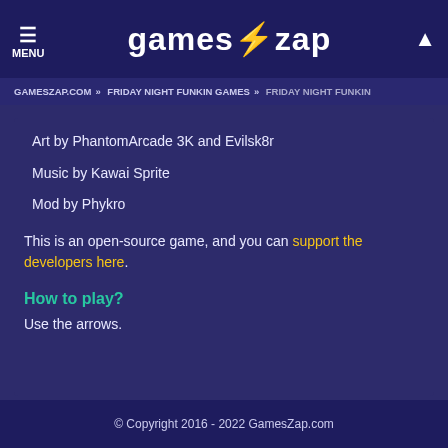MENU | gameszap | [search]
GAMESZAP.COM » FRIDAY NIGHT FUNKIN GAMES » FRIDAY NIGHT FUNKIN
Art by PhantomArcade 3K and Evilsk8r
Music by Kawai Sprite
Mod by Phykro
This is an open-source game, and you can support the developers here.
How to play?
Use the arrows.
© Copyright 2016 - 2022 GamesZap.com